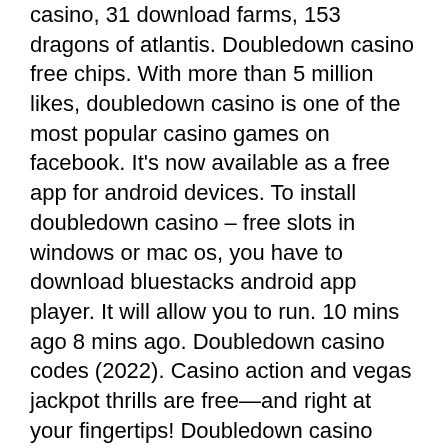casino, 31 download farms, 153 dragons of atlantis. Doubledown casino free chips. With more than 5 million likes, doubledown casino is one of the most popular casino games on facebook. It's now available as a free app for android devices. To install doubledown casino – free slots in windows or mac os, you have to download bluestacks android app player. It will allow you to run. 10 mins ago 8 mins ago. Doubledown casino codes (2022). Casino action and vegas jackpot thrills are free—and right at your fingertips! Doubledown casino vegas slots 4. Найти последние и старые версии 15 мин · материалы: па, па1. Download and install bluestacks on your pc2. Complete google sign-in to access the play store, or do it later3. Look for doubledown casino vegas slots in the search bar at the top right corner. Play your favorite vegas slots and win big at